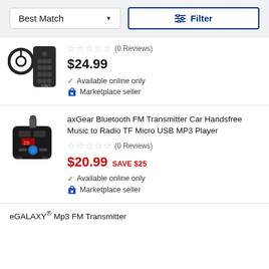Best Match ▼   Filter
★★★★★ (0 Reviews)
$24.99
✓ Available online only
🛍 Marketplace seller
axGear Bluetooth FM Transmitter Car Handsfree Music to Radio TF Micro USB MP3 Player
★★★★★ (0 Reviews)
$20.99 SAVE $25
✓ Available online only
🛍 Marketplace seller
eGALAXY® Mp3 FM Transmitter